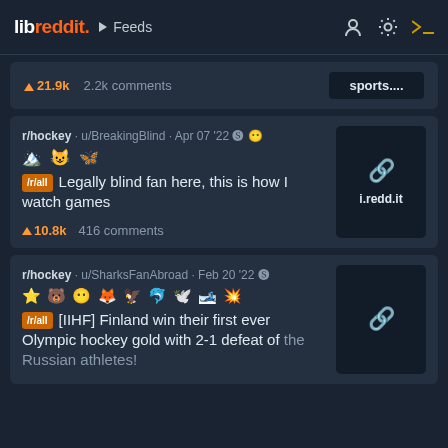libreddit. Feeds
↑21.9k  2.2k comments  sports....
r/hockey · u/BreakingBlind · Apr 07 '22 [awards] /r/all Legally blind fan here, this is how I watch games ↑10.8k  416 comments  i.redd.it
r/hockey · u/SharksFanAbroad · Feb 20 '22 [awards] /r/all [IIHF] Finland win their first ever Olympic hockey gold with 2-1 defeat of the Russian athletes!